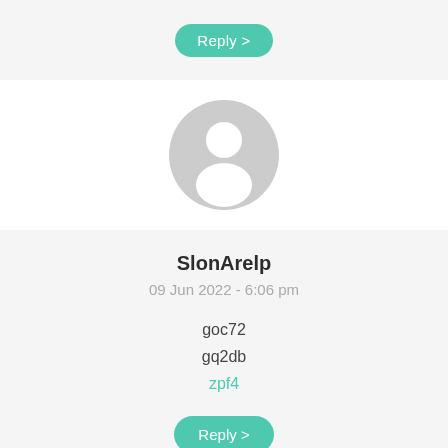Reply >
[Figure (illustration): Default user avatar icon: circular grey silhouette with head and shoulders shape]
SlonArelp
09 Jun 2022 - 6:06 pm
goc72
gq2db
zpf4
Reply >